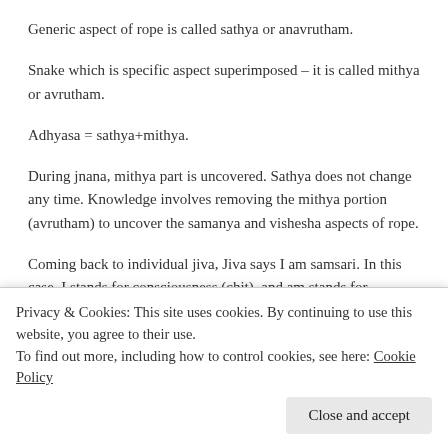Generic aspect of rope is called sathya or anavrutham.
Snake which is specific aspect superimposed – it is called mithya or avrutham.
Adhyasa = sathya+mithya.
During jnana, mithya part is uncovered. Sathya does not change any time. Knowledge involves removing the mithya portion (avrutham) to uncover the samanya and vishesha aspects of rope.
Coming back to individual jiva, Jiva says  I am samsari.   In this case,  I stands for consciousness (chit), and am stands for existence (sat). Samsara is about suffering.  I am is the samanya (anavrutham) aspect
Privacy & Cookies: This site uses cookies. By continuing to use this website, you agree to their use.
To find out more, including how to control cookies, see here: Cookie Policy
Close and accept